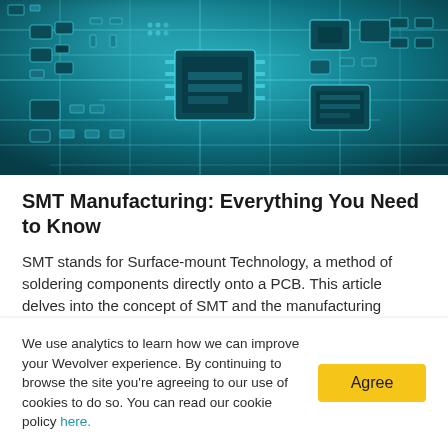[Figure (photo): Close-up photograph of a printed circuit board (PCB) with various surface-mount components, chips, and circuit traces in teal/cyan color tones.]
SMT Manufacturing: Everything You Need to Know
SMT stands for Surface-mount Technology, a method of soldering components directly onto a PCB. This article delves into the concept of SMT and the manufacturing process, as well as the benefits,
We use analytics to learn how we can improve your Wevolver experience. By continuing to browse the site you're agreeing to our use of cookies to do so. You can read our cookie policy here.